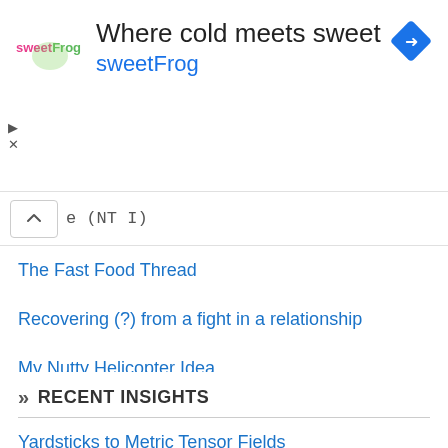[Figure (other): SweetFrog advertisement banner with logo, text 'Where cold meets sweet / sweetFrog', navigation arrow icon, and ad controls]
e (NT I)
The Fast Food Thread
Recovering (?) from a fight in a relationship
My Nutty Helicopter Idea
Was bored today and searched for a puzzle. Came across this one...
» RECENT INSIGHTS
Yardsticks to Metric Tensor Fields
Programming an ATmega8A using Arduino